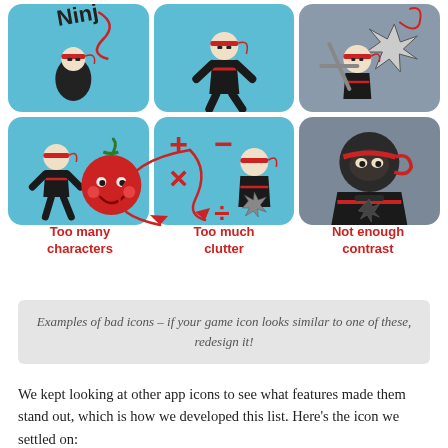[Figure (illustration): Top row of three app icon examples showing bad icon designs - ninja character with text, ninja walking figure, and ninja with weapons/shuriken]
[Figure (illustration): Second row of three app icon examples: left shows ninja with tomato character (too many characters), middle shows math symbols +, -, x, ÷ with ninja (too much clutter) with red arrow annotation, right shows dark ninja with low contrast (not enough contrast)]
Too many characters
Too much clutter
Not enough contrast
Examples of bad icons – if your game icon looks similar to one of these, redesign it!
We kept looking at other app icons to see what features made them stand out, which is how we developed this list. Here's the icon we settled on: